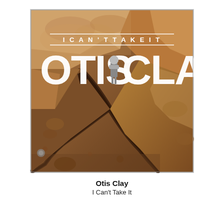[Figure (illustration): Album cover for 'I Can't Take It' by Otis Clay. Background is a close-up photograph of cracked, dry brown clay/earth soil. At the top in white capital letters with horizontal lines above and below: 'I CAN'T TAKE IT'. Below that in very large bold white serif letters: 'OTIS' and 'CLAY' with a small monochrome photo of a standing man (Otis Clay with arms crossed) positioned between the two words, serving as the letter separator. The album cover has a border and is square.]
Otis Clay
I Can't Take It